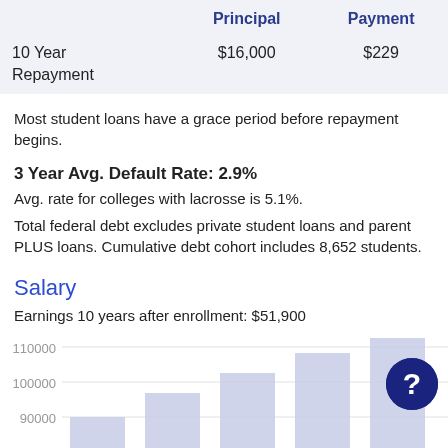|  | Principal | Payment |
| --- | --- | --- |
| 10 Year Repayment | $16,000 | $229 |
Most student loans have a grace period before repayment begins.
3 Year Avg. Default Rate: 2.9%
Avg. rate for colleges with lacrosse is 5.1%.
Total federal debt excludes private student loans and parent PLUS loans. Cumulative debt cohort includes 8,652 students.
Salary
Earnings 10 years after enrollment: $51,900
Earnings of former students working by percentile.
[Figure (bar-chart): Partially visible bar chart showing earnings by percentile. Y-axis shows values 90000, 100000, 110000. Chart is cut off at bottom of page.]